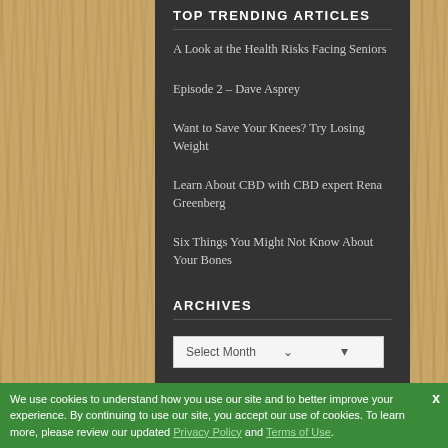TOP TRENDING ARTICLES
A Look at the Health Risks Facing Seniors
Episode 2 – Dave Asprey
Want to Save Your Knees? Try Losing Weight
Learn About CBD with CBD expert Rena Greenberg
Six Things You Might Not Know About Your Bones
ARCHIVES
Select Month
POPULAR TOPICS
We use cookies to understand how you use our site and to better improve your experience. By continuing to use our site, you accept our use of cookies. To learn more, please review our updated Privacy Policy and Terms of Use.